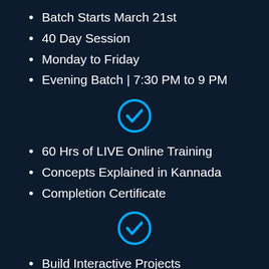Batch Starts March 21st
40 Day Session
Monday to Friday
Evening Batch | 7:30 PM to 9 PM
[Figure (illustration): Blue circle with white checkmark icon]
60 Hrs of LIVE Online Training
Concepts Explained in Kannada
Completion Certificate
[Figure (illustration): Blue circle with white checkmark icon]
Build Interactive Projects
Doubt Clarification
Interview Preparation